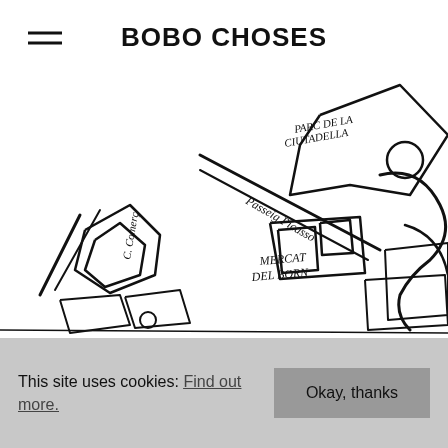BOBO CHOSES
[Figure (map): Hand-drawn map sketch showing streets and landmarks in Barcelona's Born district, including 'Parc de la Ciutadella', 'Passeig Picasso', 'Mercat del Born', and 'C. Comerç' street labels drawn in a loose, informal style with black ink on white background.]
This site uses cookies: Find out more.
Okay, thanks